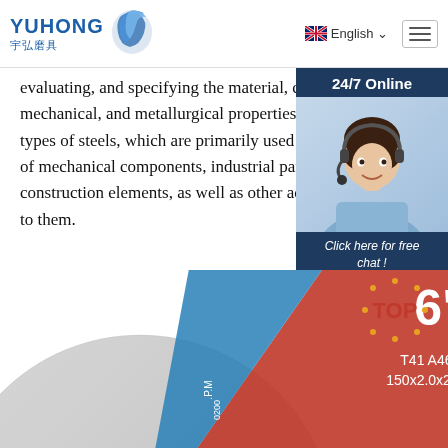YUHONG 宇弘磨具 | English | Menu
evaluating, and specifying the material, chemical, mechanical, and metallurgical properties of the types of steels, which are primarily used in the of mechanical components, industrial parts, and construction elements, as well as other accessories to them.
Get Price
[Figure (photo): Customer service representative with headset, 24/7 Online chat panel with QUOTATION button]
[Figure (photo): Cutting disc product: 6 inch T41 A46SBF 150x2.0x22.2mm with TOP and MPA certification badges]